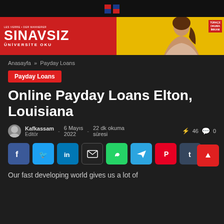[Figure (screenshot): Top navigation black bar with logo]
[Figure (photo): SINAVSIZ ÜNİVERSİTE OKU advertisement banner in red and yellow with a smiling young woman]
Anasayfa » Payday Loans
Payday Loans
Online Payday Loans Elton, Louisiana
Kafkassam Editör - 6 Mayıs 2022 - 22 dk okuma süresi ⚡46 💬 0
[Figure (infographic): Social share buttons: Facebook, Twitter, LinkedIn, Email, WhatsApp, Telegram, Pinterest, Tumblr; scroll-to-top red button]
Our fast developing world gives us a lot of